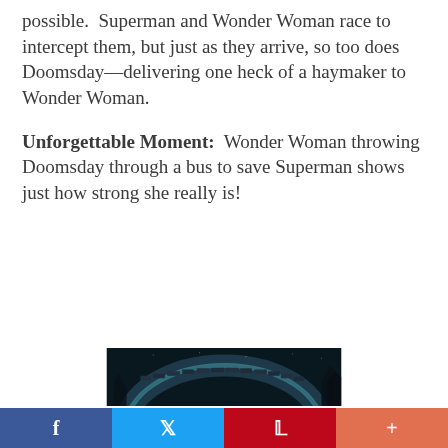possible.  Superman and Wonder Woman race to intercept them, but just as they arrive, so too does Doomsday—delivering one heck of a haymaker to Wonder Woman.
Unforgettable Moment:  Wonder Woman throwing Doomsday through a bus to save Superman shows just how strong she really is!
[Figure (photo): Dark scene showing a large rounded brick or stone structure (possibly a bridge or dome) at night with dark background and shadowy figure elements at the edges.]